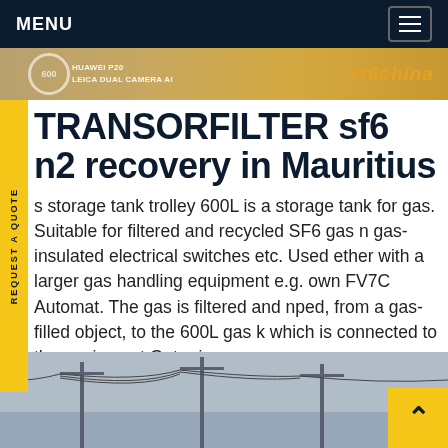MENU
[Figure (photo): Banner image with camera branding text 'LEICA DUAL CAMERA' and orange sf6china text overlay on a golden/amber background]
TRANSORFILTER sf6 n2 recovery in Mauritius
s storage tank trolley 600L is a storage tank for gas. Suitable for filtered and recycled SF6 gas n gas-insulated electrical switches etc. Used ether with a larger gas handling equipment e.g. own FV7C Automat. The gas is filtered and nped, from a gas-filled object, to the 600L gas k which is connected to the equipment.Get price
[Figure (photo): Bottom image showing electrical power lines and transmission towers against a grey sky]